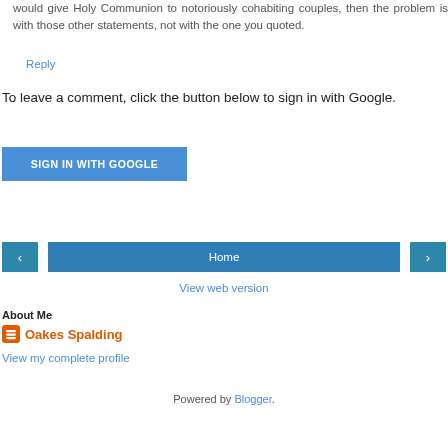would give Holy Communion to notoriously cohabiting couples, then the problem is with those other statements, not with the one you quoted.
Reply
To leave a comment, click the button below to sign in with Google.
SIGN IN WITH GOOGLE
‹
Home
›
View web version
About Me
Oakes Spalding
View my complete profile
Powered by Blogger.